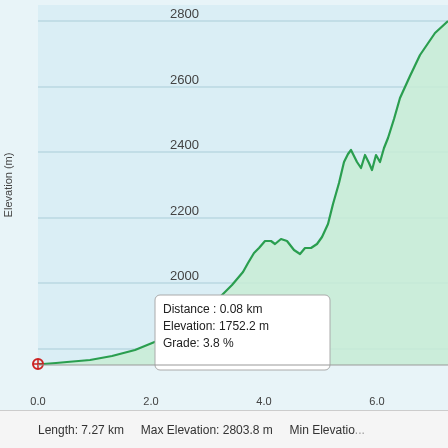[Figure (continuous-plot): Elevation profile chart showing distance on x-axis (0.0 to 6.0+ km) and elevation on y-axis (approximately 1750m to 2800m). The profile starts near 1750m, rises steeply to about 2150m around 4km, dips slightly, then climbs sharply with a peak near 2450m at about 5.5km, drops slightly, then continues rising beyond 2700m at 6km+. A tooltip shows: Distance: 0.08 km, Elevation: 1752.2 m, Grade: 3.8%. Footer shows Length: 7.27 km, Max Elevation: 2803.8 m, Min Elevatio...]
Distance : 0.08 km
Elevation: 1752.2 m
Grade: 3.8 %
Length: 7.27 km    Max Elevation: 2803.8 m    Min Elevatio...